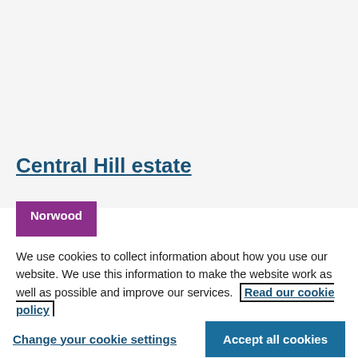Central Hill estate
Norwood
We use cookies to collect information about how you use our website. We use this information to make the website work as well as possible and improve our services. Read our cookie policy
Change your cookie settings
Accept all cookies